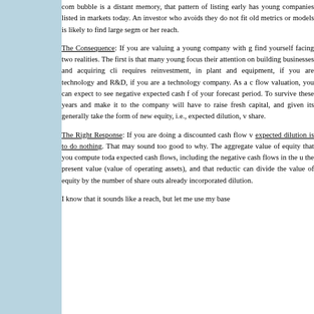com bubble is a distant memory, that pattern of listing early has young companies listed in markets today. An investor who avoids they do not fit old metrics or models is likely to find large segments or her reach.
The Consequence: If you are valuing a young company with growth find yourself facing two realities. The first is that many young focus their attention on building businesses and acquiring clients requires reinvestment, in plant and equipment, if you are technology and R&D, if you are a technology company. As a discounted cash flow valuation, you can expect to see negative expected cash flows for much of your forecast period. To survive these years and make it to profitability, the company will have to raise fresh capital, and given its stage, this will generally take the form of new equity, i.e., expected dilution, which will reduce value per share.
The Right Response: If you are doing a discounted cash flow valuation, the right response to expected dilution is to do nothing. That may sound too good to be true, but here is why. The aggregate value of equity that you compute today already incorporates the expected cash flows, including the negative cash flows in the up-front years, and discounts them to the present value (value of operating assets), and that reduction in present value is automatic. You can divide the value of equity by the number of shares outstanding today, since you have already incorporated dilution.
I know that it sounds like a reach, but let me use my base...